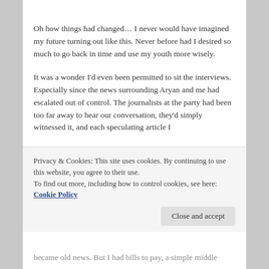Oh how things had changed… I never would have imagined my future turning out like this. Never before had I desired so much to go back in time and use my youth more wisely.
It was a wonder I'd even been permitted to sit the interviews. Especially since the news surrounding Aryan and me had escalated out of control. The journalists at the party had been too far away to hear our conversation, they'd simply witnessed it, and each speculating article I
Privacy & Cookies: This site uses cookies. By continuing to use this website, you agree to their use.
To find out more, including how to control cookies, see here: Cookie Policy
became old news. But I had bills to pay, a simple middle